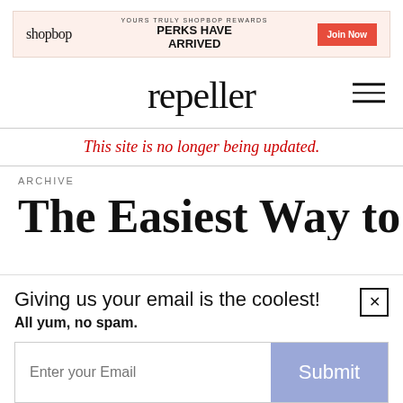[Figure (infographic): Shopbop advertisement banner. Logo on left reads 'shopbop'. Center text reads 'YOURS TRULY SHOPBOP REWARDS' and 'PERKS HAVE ARRIVED'. Orange button on right reads 'Join Now'.]
repeller
This site is no longer being updated.
ARCHIVE
The Easiest Way to
Giving us your email is the coolest!
All yum, no spam.